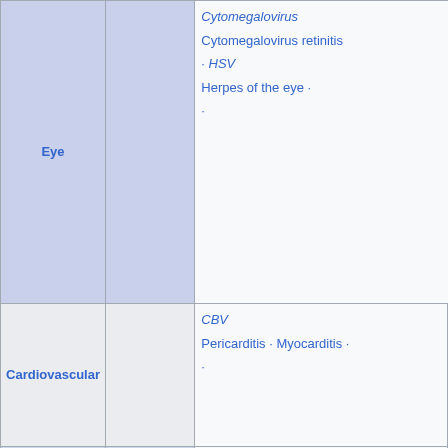| System | Virus type | Diseases |
| --- | --- | --- |
| Eye |  | Cytomegalovirus
Cytomegalovirus retinitis
· HSV
Herpes of the eye ·
· |
| Cardiovascular |  | CBV
Pericarditis · Myocarditis ·
· |
| Respiratory system/ acute viral nasopharyngitis/ viral pneumonia | DNA virus | Epstein–Barr virus
EBV infection/Infectious mo·
· Cytomegalovirus · |
|  |  | IV: Human coronavirus
229E/NL63/HKU1/OC43
Common cold ·
· MERS coronavirus
Middle East respiratory sy·
· SARS coronavirus
Severe acute respiratory sy·
· SARS coronavirus 2
COVID-19 · |
|  | DNA virus | COVID-19 · |